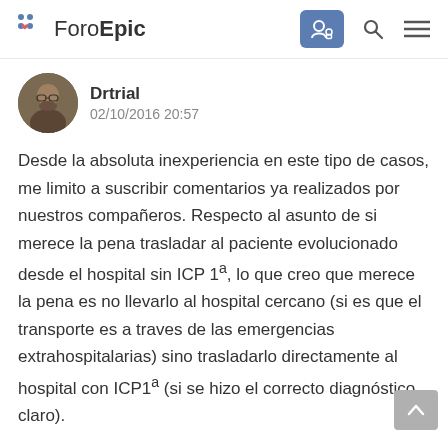ForoEpic
Drtrial
02/10/2016 20:57
Desde la absoluta inexperiencia en este tipo de casos, me limito a suscribir comentarios ya realizados por nuestros compañeros. Respecto al asunto de si merece la pena trasladar al paciente evolucionado desde el hospital sin ICP 1ª, lo que creo que merece la pena es no llevarlo al hospital cercano (si es que el transporte es a traves de las emergencias extrahospitalarias) sino trasladarlo directamente al hospital con ICP1ª (si se hizo el correcto diagnóstico, claro).